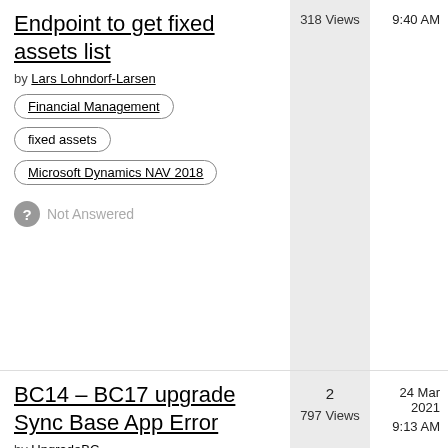Endpoint to get fixed assets list
by Lars Lohndorf-Larsen
Financial Management
fixed assets
Microsoft Dynamics NAV 2018
Not Answered
318 Views
9:40 AM
BC14 – BC17 upgrade Sync Base App Error
by UpgradeBC
2
797 Views
24 Mar 2021
9:13 AM
Install and Upgrade